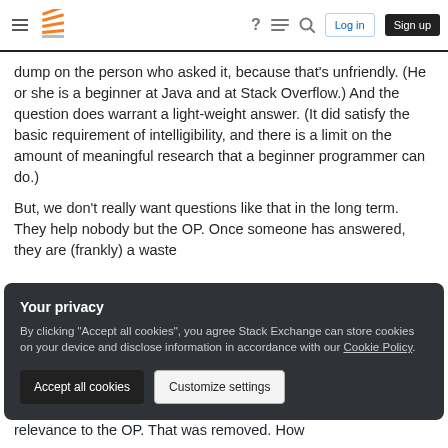Stack Overflow navigation bar with hamburger menu, logo, help, chat, search icons, Log in and Sign up buttons
dump on the person who asked it, because that's unfriendly. (He or she is a beginner at Java and at Stack Overflow.) And the question does warrant a light-weight answer. (It did satisfy the basic requirement of intelligibility, and there is a limit on the amount of meaningful research that a beginner programmer can do.)
But, we don't really want questions like that in the long term. They help nobody but the OP. Once someone has answered, they are (frankly) a waste
Your privacy
By clicking "Accept all cookies", you agree Stack Exchange can store cookies on your device and disclose information in accordance with our Cookie Policy.
Accept all cookies   Customize settings
relevance to the OP. That was removed. How